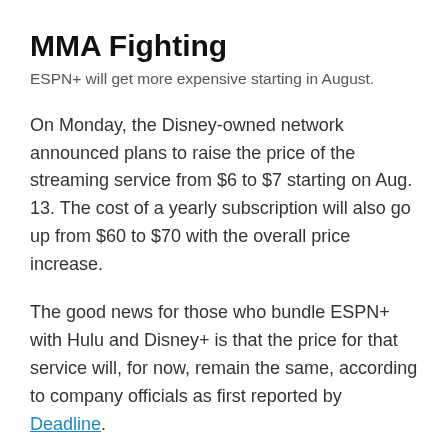MMA Fighting
ESPN+ will get more expensive starting in August.
On Monday, the Disney-owned network announced plans to raise the price of the streaming service from $6 to $7 starting on Aug. 13. The cost of a yearly subscription will also go up from $60 to $70 with the overall price increase.
The good news for those who bundle ESPN+ with Hulu and Disney+ is that the price for that service will, for now, remain the same, according to company officials as first reported by Deadline.
For now, UFC pay-per-view prices will also remain unchanged. This past December, ESPN raised the cost to $69.99 from $64.99 in what was the second hike since the